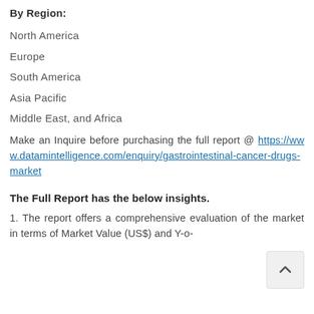By Region:
North America
Europe
South America
Asia Pacific
Middle East, and Africa
Make an Inquire before purchasing the full report @ https://www.datamintelligence.com/enquiry/gastrointestinal-cancer-drugs-market
The Full Report has the below insights.
1. The report offers a comprehensive evaluation of the market in terms of Market Value (US$) and Y-o-